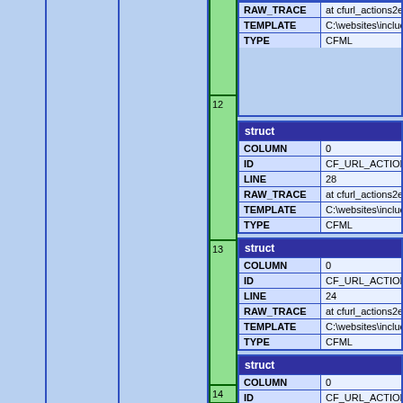| KEY | VALUE |
| --- | --- |
| RAW_TRACE | at cfurl_actions2ecfm1003133989._f |
| TEMPLATE | C:\websites\includes\application\url_ |
| TYPE | CFML |
| KEY | VALUE |
| --- | --- |
| struct |  |
| COLUMN | 0 |
| ID | CF_URL_ACTIONS |
| LINE | 28 |
| RAW_TRACE | at cfurl_actions2ecfm1003133989._f |
| TEMPLATE | C:\websites\includes\application\url_ |
| TYPE | CFML |
| KEY | VALUE |
| --- | --- |
| struct |  |
| COLUMN | 0 |
| ID | CF_URL_ACTIONS |
| LINE | 24 |
| RAW_TRACE | at cfurl_actions2ecfm1003133989._f |
| TEMPLATE | C:\websites\includes\application\url_ |
| TYPE | CFML |
| KEY | VALUE |
| --- | --- |
| struct |  |
| COLUMN | 0 |
| ID | CF_URL_ACTIONS |
| LINE | 21 |
| RAW_TRACE | at cfurl_actions2ecfm1003133989._f |